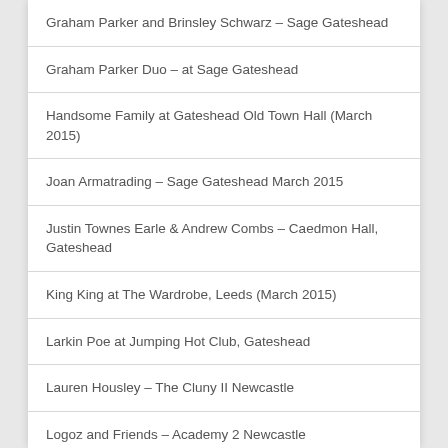Graham Parker and Brinsley Schwarz – Sage Gateshead
Graham Parker Duo – at Sage Gateshead
Handsome Family at Gateshead Old Town Hall (March 2015)
Joan Armatrading – Sage Gateshead March 2015
Justin Townes Earle & Andrew Combs – Caedmon Hall, Gateshead
King King at The Wardrobe, Leeds (March 2015)
Larkin Poe at Jumping Hot Club, Gateshead
Lauren Housley – The Cluny II Newcastle
Logoz and Friends – Academy 2 Newcastle